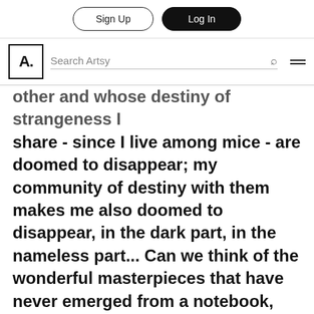Sign Up | Log In
[Figure (screenshot): Artsy website navigation bar with logo 'A.' and Search Artsy input field with search icon and hamburger menu]
other and whose destiny of strangeness I share - since I live among mice - are doomed to disappear; my community of destiny with them makes me also doomed to disappear, in the dark part, in the nameless part... Can we think of the wonderful masterpieces that have never emerged from a notebook, thrown with the belongings of n old lady who died alone and miserable? Perhaps these are the only works that can achieve the true status of authenticity; works that